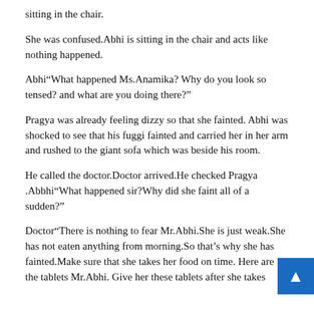sitting in the chair.
She was confused.Abhi is sitting in the chair and acts like nothing happened.
Abhi“What happened Ms.Anamika? Why do you look so tensed? and what are you doing there?”
Pragya was already feeling dizzy so that she fainted. Abhi was shocked to see that his fuggi fainted and carried her in her arm and rushed to the giant sofa which was beside his room.
He called the doctor.Doctor arrived.He checked Pragya .Abbhi“What happened sir?Why did she faint all of a sudden?”
Doctor“There is nothing to fear Mr.Abhi.She is just weak.She has not eaten anything from morning.So that’s why she has fainted.Make sure that she takes her food on time. Here are the tablets Mr.Abhi. Give her these tablets after she takes